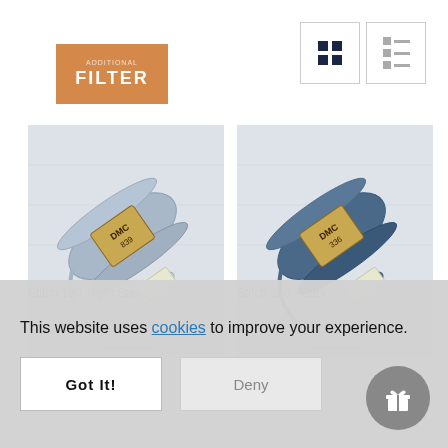[Figure (screenshot): Filter button (orange) and grid/list view toggle buttons on a product listing page]
[Figure (photo): DMC embroidery thread skein, light blue-grey color, on white fabric background]
[Figure (photo): DMC embroidery thread skein, darker slate blue color, on white fabric background]
Stitch 100 - light Ste...
Stitch 200 - Dark...
This website uses cookies to improve your experience.
Got It!
Deny